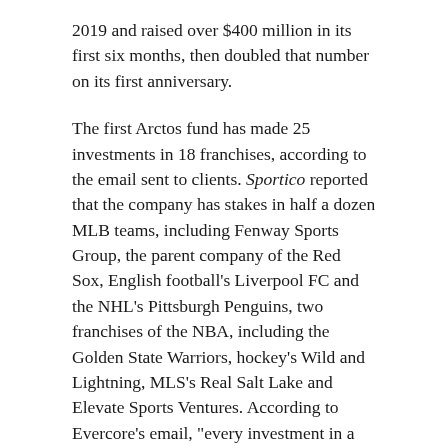2019 and raised over $400 million in its first six months, then doubled that number on its first anniversary.
The first Arctos fund has made 25 investments in 18 franchises, according to the email sent to clients. Sportico reported that the company has stakes in half a dozen MLB teams, including Fenway Sports Group, the parent company of the Red Sox, English football's Liverpool FC and the NHL's Pittsburgh Penguins, two franchises of the NBA, including the Golden State Warriors, hockey's Wild and Lightning, MLS's Real Salt Lake and Elevate Sports Ventures. According to Evercore's email, "every investment in a franchise exceeds baseline expectations as the sports industry has rebounded from the COVID-19 pandemic much faster than expected."
Arctos' primary strategy is to buy minority stakes in professional sports teams, companies that have historically appreciated faster than stocks but have traditionally only